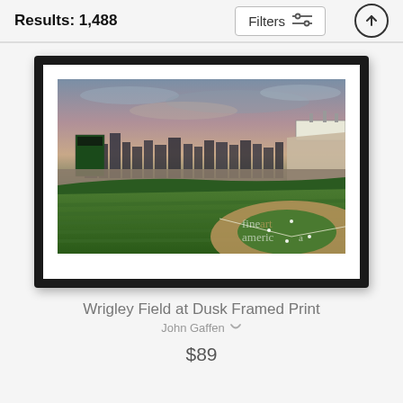Results: 1,488
Filters
[Figure (photo): Wrigley Field at Dusk baseball stadium panoramic photo at twilight, showing the green field, dirt infield, packed stadium crowd, city skyline in background, stadium lights on upper right, and fine art america watermark. Displayed as a framed print with black frame and white mat.]
Wrigley Field at Dusk Framed Print
John Gaffen
$89